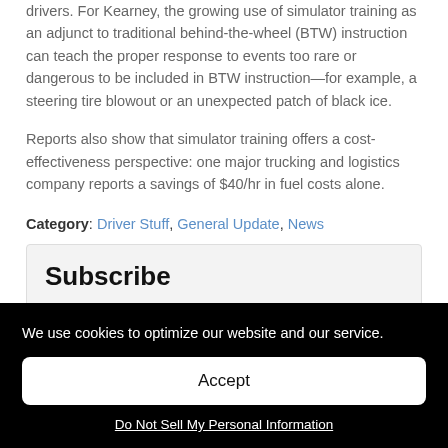drivers. For Kearney, the growing use of simulator training as an adjunct to traditional behind-the-wheel (BTW) instruction can teach the proper response to events too rare or dangerous to be included in BTW instruction—for example, a steering tire blowout or an unexpected patch of black ice.
Reports also show that simulator training offers a cost-effectiveness perspective: one major trucking and logistics company reports a savings of $40/hr in fuel costs alone.
Category: Driver Stuff, General Update, News
Subscribe
We use cookies to optimize our website and our service.
Accept
Do Not Sell My Personal Information